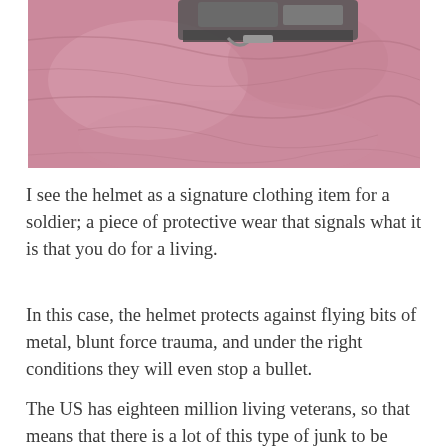[Figure (photo): Close-up photo of a pink/mauve textured fabric with what appears to be a military helmet or equipment visible at the top of the image.]
I see the helmet as a signature clothing item for a soldier; a piece of protective wear that signals what it is that you do for a living.
In this case, the helmet protects against flying bits of metal, blunt force trauma, and under the right conditions they will even stop a bullet.
The US has eighteen million living veterans, so that means that there is a lot of this type of junk to be found